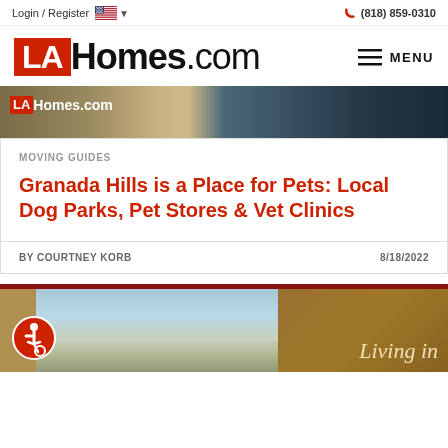Login / Register   (818) 859-0310
LAHomes.com
[Figure (photo): Hero banner image showing partial LAHomes.com logo on an autumn outdoor background with people walking]
MOVING GUIDES
Granada Hills is a Place for Pets: Local Dog Parks, Pet Stores & Vet Clinics
BY COURTNEY KORB    8/18/2022
[Figure (photo): Bottom strip showing a scenic landscape photo on the left and a dark gold panel on the right with italic text 'Living in']